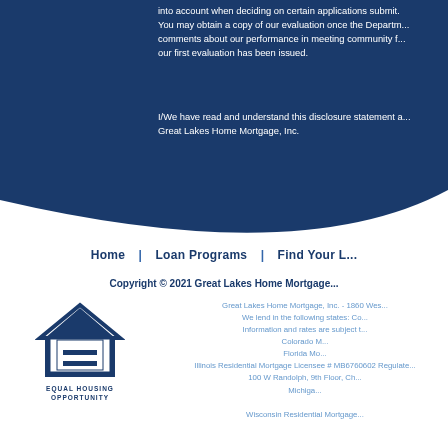into account when deciding on certain applications submitted. You may obtain a copy of our evaluation once the Department comments about our performance in meeting community fi... our first evaluation has been issued.
I/We have read and understand this disclosure statement c... Great Lakes Home Mortgage, Inc.
Home | Loan Programs | Find Your L...
Copyright © 2021 Great Lakes Home Mortgage...
Great Lakes Home Mortgage, Inc. - 1860 Wes...
We lend in the following states: Co...
Information and rates are subject t...
Colorado M...
Florida Mo...
Illinois Residential Mortgage Licensee # MB6760602 Regulate...
100 W Randolph, 9th Floor, Ch...
Michiga...
Wisconsin Residential Mortgage...
[Figure (logo): Equal Housing Opportunity logo with house icon and equal sign]